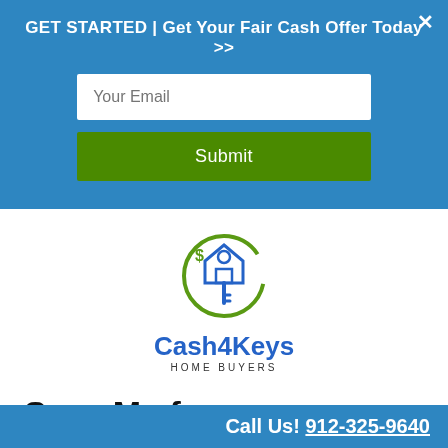GET STARTED | Get Your Fair Cash Offer Today >>
[Figure (other): Email input field with placeholder 'Your Email']
[Figure (other): Green Submit button]
[Figure (logo): Cash4Keys Home Buyers logo with circular green and blue icon]
Save Me from Foreclosure in Effingham County, Georgia
Posted ...
Call Us! 912-325-9640